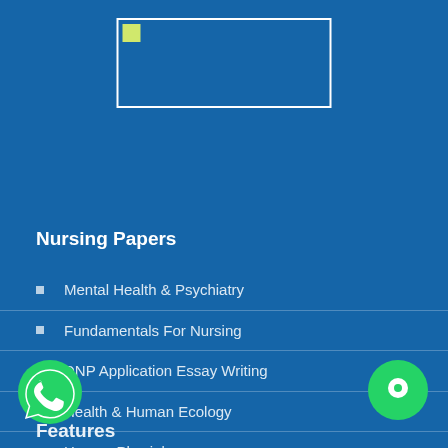[Figure (logo): Logo image placeholder box with white border]
Nursing Papers
Mental Health & Psychiatry
Fundamentals For Nursing
DNP Application Essay Writing
Health & Human Ecology
Human Physiology
Medical Writing Services
BSN Capstone Project
Features
[Figure (illustration): WhatsApp green circle button with phone icon, bottom left]
[Figure (illustration): Green chat/message circle button, bottom right]